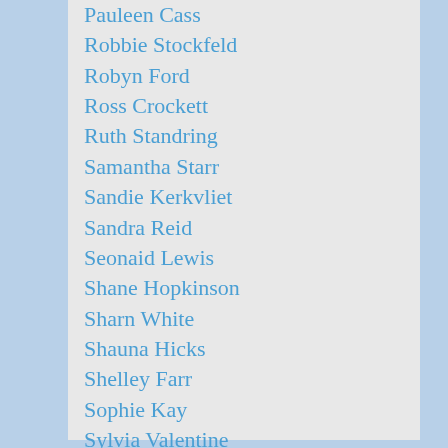Pauleen Cass
Robbie Stockfeld
Robyn Ford
Ross Crockett
Ruth Standring
Samantha Starr
Sandie Kerkvliet
Sandra Reid
Seonaid Lewis
Shane Hopkinson
Sharn White
Shauna Hicks
Shelley Farr
Sophie Kay
Sylvia Valentine
Tara
Tracy Williams
Vicki Court
Wendy Lehman